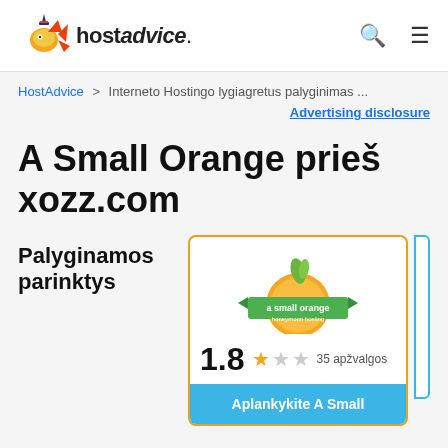hostadvice.
HostAdvice > Interneto Hostingo lygiagretus palyginimas ...
Advertising disclosure
A Small Orange prieš xozz.com
Palyginamos parinktys
[Figure (logo): A Small Orange hosting logo — orange fruit with green leaf and banner]
1.8  35 apžvalgos
Aplankykite A Small